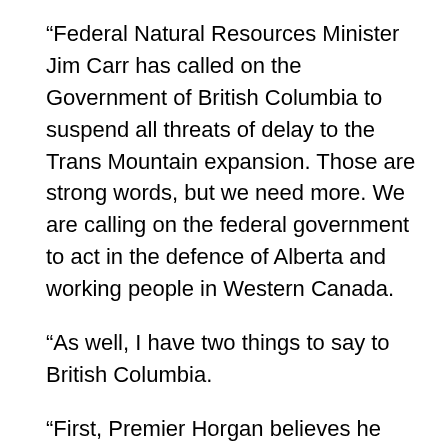“Federal Natural Resources Minister Jim Carr has called on the Government of British Columbia to suspend all threats of delay to the Trans Mountain expansion. Those are strong words, but we need more. We are calling on the federal government to act in the defence of Alberta and working people in Western Canada.
“As well, I have two things to say to British Columbia.
“First, Premier Horgan believes he can harass this project without economic consequences for his province. He is wrong. We will be bringing forward legislation in coming days giving our government the powers it needs to impose serious economic